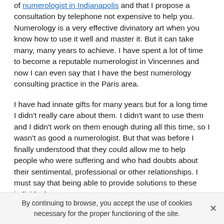of numerologist in Indianapolis and that I propose a consultation by telephone not expensive to help you. Numerology is a very effective divinatory art when you know how to use it well and master it. But it can take many, many years to achieve. I have spent a lot of time to become a reputable numerologist in Vincennes and now I can even say that I have the best numerology consulting practice in the Paris area.

I have had innate gifts for many years but for a long time I didn't really care about them. I didn't want to use them and I didn't work on them enough during all this time, so I wasn't as good a numerologist. But that was before I finally understood that they could allow me to help people who were suffering and who had doubts about their sentimental, professional or other relationships. I must say that being able to provide solutions to these individuals
By continuing to browse, you accept the use of cookies necessary for the proper functioning of the site.